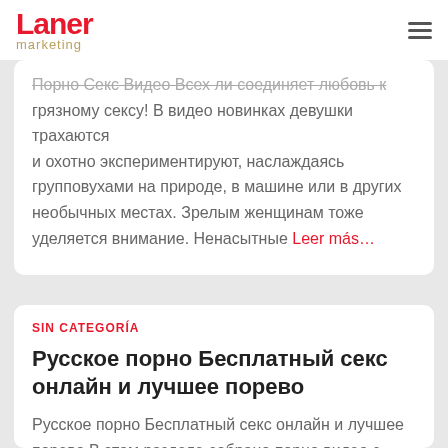Laner marketing
Порно Секс Видео Всех ли соединяет любовь к грязному сексу! В видео новинках девушки трахаются и охотно экспериментируют, наслаждаясь групповухами на природе, в машине или в других необычных местах. Зрелым женщинам тоже уделяется внимание. Ненасытные Leer más…
SIN CATEGORÍA
Русское порно Бесплатный секс онлайн и лучшее порево
Русское порно Бесплатный секс онлайн и лучшее порево В этом разделе собрано порно видео с учителом и ученицей, которые развратничают за…